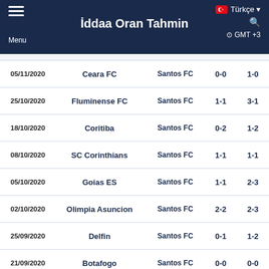İddaa Oran Tahmin | Menu | Türkçe | GMT +3
| Date | Home | Away | HT | FT |
| --- | --- | --- | --- | --- |
| 05/11/2020 | Ceara FC | Santos FC | 0-0 | 1-0 |
| 25/10/2020 | Fluminense FC | Santos FC | 1-1 | 3-1 |
| 18/10/2020 | Coritiba | Santos FC | 0-2 | 1-2 |
| 08/10/2020 | SC Corinthians | Santos FC | 1-1 | 1-1 |
| 05/10/2020 | Goias ES | Santos FC | 1-1 | 2-3 |
| 02/10/2020 | Olimpia Asuncion | Santos FC | 2-2 | 2-3 |
| 25/09/2020 | Delfin | Santos FC | 0-1 | 1-2 |
| 21/09/2020 | Botafogo | Santos FC | 0-0 | 0-0 |